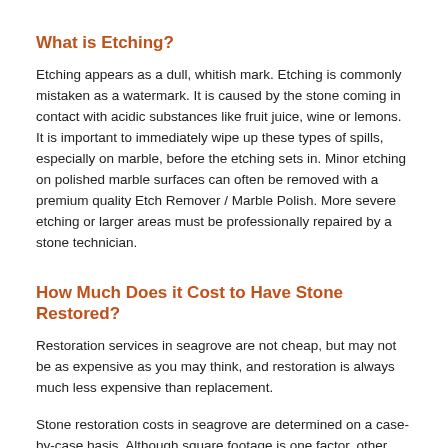sealer applied by a professional, experienced technician as improperly applied enhancing sealer can result in other problems.
What is Etching?
Etching appears as a dull, whitish mark. Etching is commonly mistaken as a watermark. It is caused by the stone coming in contact with acidic substances like fruit juice, wine or lemons. It is important to immediately wipe up these types of spills, especially on marble, before the etching sets in. Minor etching on polished marble surfaces can often be removed with a premium quality Etch Remover / Marble Polish. More severe etching or larger areas must be professionally repaired by a stone technician.
How Much Does it Cost to Have Stone Restored?
Restoration services in seagrove are not cheap, but may not be as expensive as you may think, and restoration is always much less expensive than replacement.
Stone restoration costs in seagrove are determined on a case-by-case basis. Although square footage is one factor, other factors, such as the condition and type of stone play a factor in the overall time required to